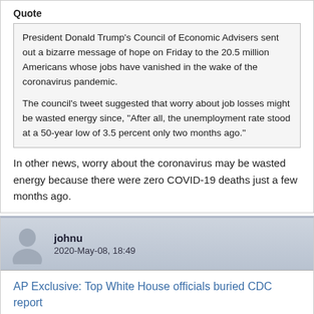Quote
President Donald Trump's Council of Economic Advisers sent out a bizarre message of hope on Friday to the 20.5 million Americans whose jobs have vanished in the wake of the coronavirus pandemic.

The council's tweet suggested that worry about job losses might be wasted energy since, “After all, the unemployment rate stood at a 50-year low of 3.5 percent only two months ago.”
In other news, worry about the coronavirus may be wasted energy because there were zero COVID-19 deaths just a few months ago.
johnu
2020-May-08, 18:49
AP Exclusive: Top White House officials buried CDC report
Quote
The decision to shelve detailed advice from the nation’s top disease control experts for reopening communities during the coronavirus